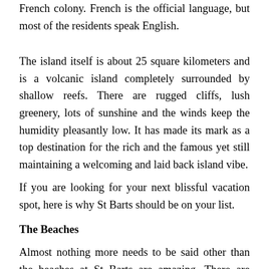French colony. French is the official language, but most of the residents speak English.
The island itself is about 25 square kilometers and is a volcanic island completely surrounded by shallow reefs. There are rugged cliffs, lush greenery, lots of sunshine and the winds keep the humidity pleasantly low. It has made its mark as a top destination for the rich and the famous yet still maintaining a welcoming and laid back island vibe.
If you are looking for your next blissful vacation spot, here is why St Barts should be on your list.
The Beaches
Almost nothing more needs to be said other than the beaches at St Barts are amazing. There are fourteen public beaches